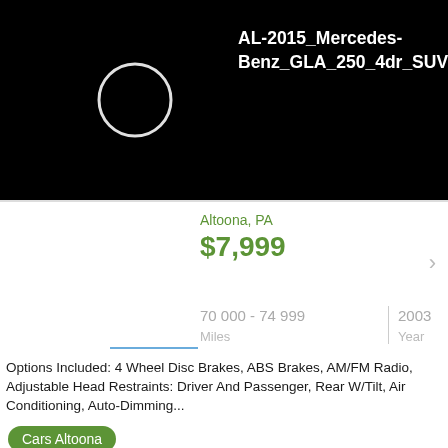[Figure (screenshot): Black header with white circle outline icon on left and bold white text 'AL-2015_Mercedes-Benz_GLA_250_4dr_SUV' on right]
Altoona, PA
$7,999
70 000 - 74 999
Miles
2003
Year
Options Included: 4 Wheel Disc Brakes, ABS Brakes, AM/FM Radio, Adjustable Head Restraints: Driver And Passenger, Rear W/Tilt, Air Conditioning, Auto-Dimming...
Cars Altoona
[Figure (photo): Photo of a silver/gold 2008 Ford Fusion SEL car in a parking area]
2008 Ford Fusion SEL
Altoona, PA
$7